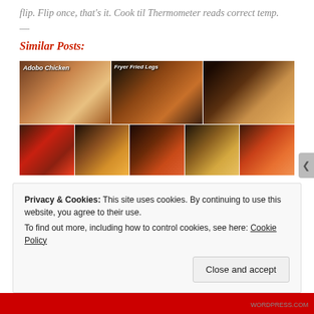flip. Flip once, that's it. Cook til Thermometer reads correct temp.
—
Similar Posts:
[Figure (photo): Grid of food photos showing chicken dishes including Adobo Chicken, Fryer Fried Legs, and other chicken preparations on plates]
Privacy & Cookies: This site uses cookies. By continuing to use this website, you agree to their use.
To find out more, including how to control cookies, see here: Cookie Policy
Close and accept